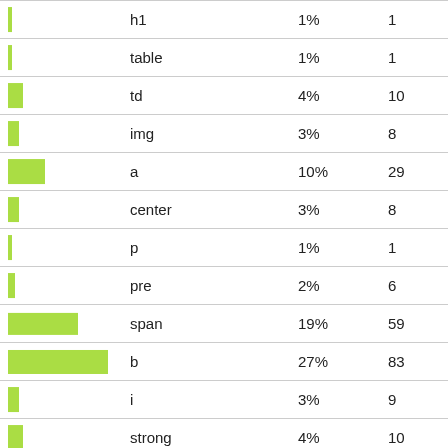| (bar) | tag | percent | count |
| --- | --- | --- | --- |
|  | h1 | 1% | 1 |
|  | table | 1% | 1 |
|  | td | 4% | 10 |
|  | img | 3% | 8 |
|  | a | 10% | 29 |
|  | center | 3% | 8 |
|  | p | 1% | 1 |
|  | pre | 2% | 6 |
|  | span | 19% | 59 |
|  | b | 27% | 83 |
|  | i | 3% | 9 |
|  | strong | 4% | 10 |